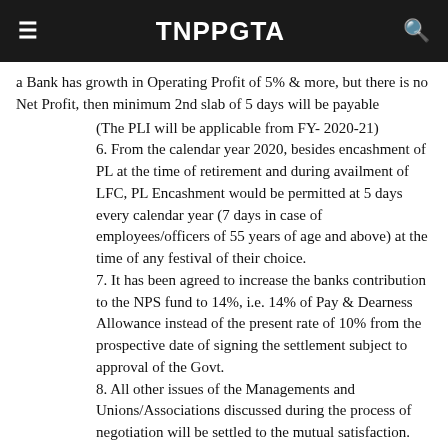TNPPGTA
a Bank has growth in Operating Profit of 5% & more, but there is no Net Profit, then minimum 2nd slab of 5 days will be payable
(The PLI will be applicable from FY- 2020-21)
6. From the calendar year 2020, besides encashment of PL at the time of retirement and during availment of LFC, PL Encashment would be permitted at 5 days every calendar year (7 days in case of employees/officers of 55 years of age and above) at the time of any festival of their choice.
7. It has been agreed to increase the banks contribution to the NPS fund to 14%, i.e. 14% of Pay & Dearness Allowance instead of the present rate of 10% from the prospective date of signing the settlement subject to approval of the Govt.
8. All other issues of the Managements and Unions/Associations discussed during the process of negotiation will be settled to the mutual satisfaction.
9. The parties will meet on mutually convenient dates to